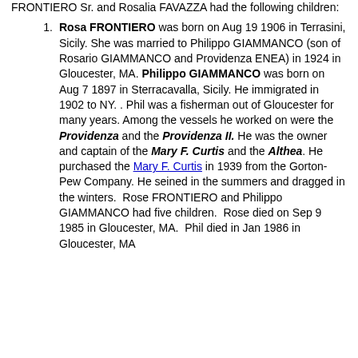FRONTIERO Sr. and Rosalia FAVAZZA had the following children:
Rosa FRONTIERO was born on Aug 19 1906 in Terrasini, Sicily. She was married to Philippo GIAMMANCO (son of Rosario GIAMMANCO and Providenza ENEA) in 1924 in Gloucester, MA. Philippo GIAMMANCO was born on Aug 7 1897 in Sterracavalla, Sicily. He immigrated in 1902 to NY. . Phil was a fisherman out of Gloucester for many years. Among the vessels he worked on were the Providenza and the Providenza II. He was the owner and captain of the Mary F. Curtis and the Althea. He purchased the Mary F. Curtis in 1939 from the Gorton-Pew Company. He seined in the summers and dragged in the winters. Rose FRONTIERO and Philippo GIAMMANCO had five children. Rose died on Sep 9 1985 in Gloucester, MA. Phil died in Jan 1986 in Gloucester, MA